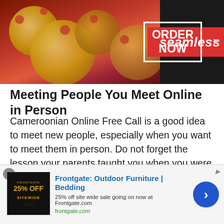[Figure (other): Seamless food delivery advertisement banner with pizza image, red Seamless badge, and ORDER NOW button on dark background]
Meeting People You Meet Online in Person
Cameroonian Online Free Call is a good idea to meet new people, especially when you want to meet them in person. Do not forget the lesson your parents taught you when you were young: “Do not trust a stranger!” The same applies to a random chat on a random chat platform.
You cannot be sure if the person you are chatting with is actually telling you the truth or not. And it might not be a good idea to disclose any private information about
[Figure (other): Frontgate advertisement banner: 25% off site wide sale, outdoor furniture and bedding, with dark product image showing 25% OFF SITEWIDE text and blue arrow CTA button]